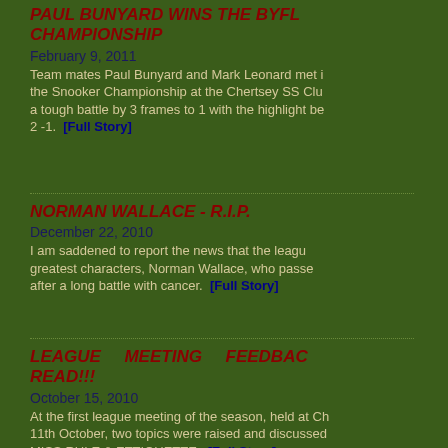PAUL BUNYARD WINS THE BYFL CHAMPIONSHIP
February 9, 2011
Team mates Paul Bunyard and Mark Leonard met in the Snooker Championship at the Chertsey SS Club. a tough battle by 3 frames to 1 with the highlight be 2 -1. [Full Story]
NORMAN WALLACE - R.I.P.
December 22, 2010
I am saddened to report the news that the league greatest characters, Norman Wallace, who passed after a long battle with cancer. [Full Story]
LEAGUE MEETING FEEDBACK READ!!!
October 15, 2010
At the first league meeting of the season, held at Ch 11th October, two topics were raised and discussed MISS RULE & ETTIQUETTE. [Full Story]